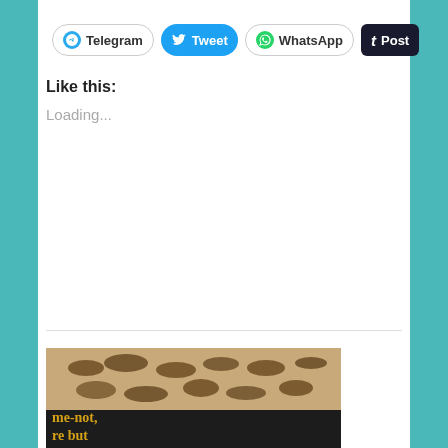[Figure (infographic): Social share buttons row: Telegram, Tweet, WhatsApp, Post]
Like this:
Loading...
[Figure (photo): Close-up photo of ancient stone inscription with carved script characters on granite-like stone, with a dark strip below showing partial yellow text reading 'me-not,' and 're but']